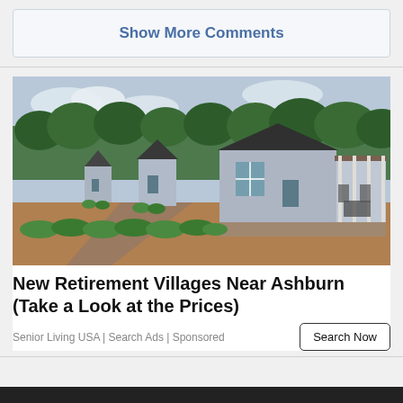Show More Comments
[Figure (photo): Row of small blue/grey modern cottage-style retirement village homes with green hedgerows and trees in background]
New Retirement Villages Near Ashburn (Take a Look at the Prices)
Senior Living USA | Search Ads | Sponsored
Search Now